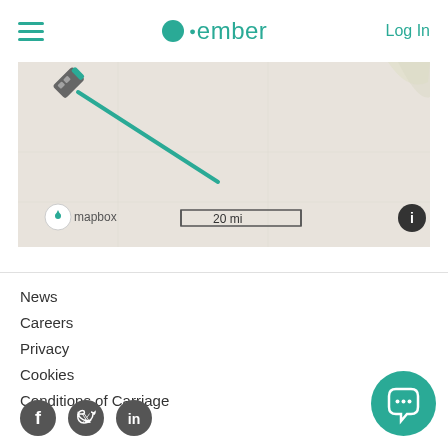ember — Log In
[Figure (map): Mapbox map showing a route with a bus icon in the upper left area. Scale bar showing 20 mi at bottom left. Info button at bottom right.]
News
Careers
Privacy
Cookies
Conditions of Carriage
[Figure (illustration): Social media icons: Facebook, Twitter, LinkedIn]